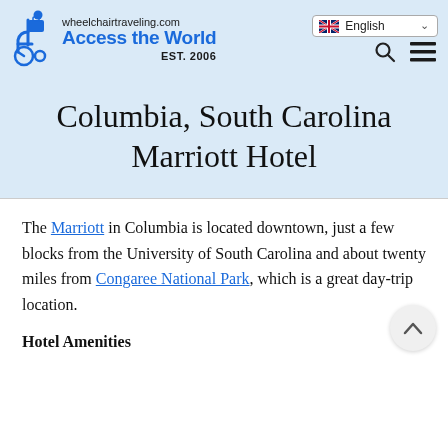wheelchairtraveling.com Access the World EST. 2006
Columbia, South Carolina Marriott Hotel
The Marriott in Columbia is located downtown, just a few blocks from the University of South Carolina and about twenty miles from Congaree National Park, which is a great day-trip location.
Hotel Amenities